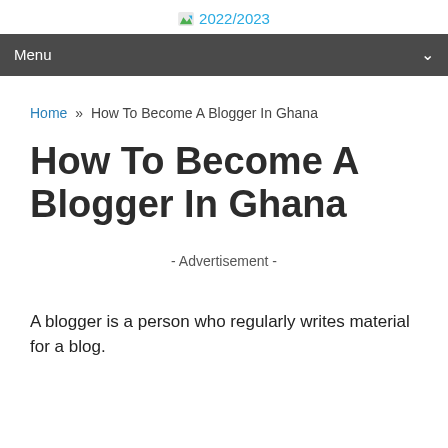2022/2023
Menu
Home » How To Become A Blogger In Ghana
How To Become A Blogger In Ghana
- Advertisement -
A blogger is a person who regularly writes material for a blog.